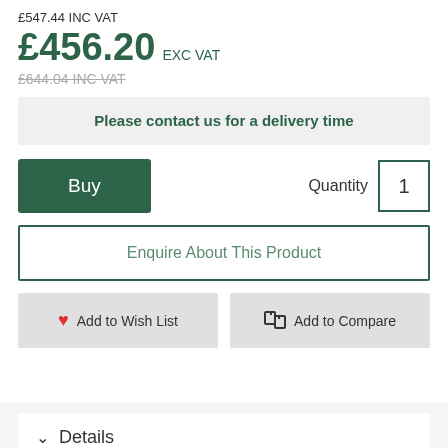£547.44 INC VAT
£456.20 EXC VAT
£644.04 INC VAT
Please contact us for a delivery time
Buy
Quantity 1
Enquire About This Product
Add to Wish List
Add to Compare
Details